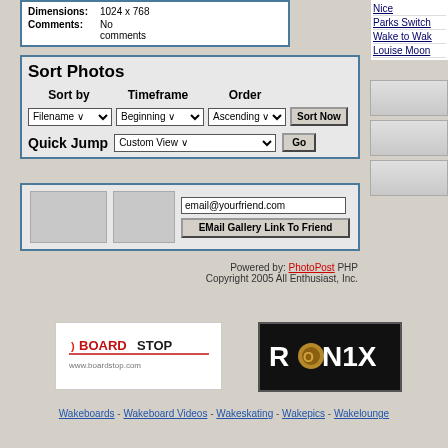Dimensions: 1024 x 768
Comments: No comments
Sort Photos
Sort by: Filename | Timeframe: Beginning | Order: Ascending | Sort Now
Quick Jump: Custom View | Go
email@yourfriend.com | EMail Gallery Link To Friend
Powered by: PhotoPost PHP
Copyright 2005 All Enthusiast, Inc.
Nice
Parks Switch
Wake to Wak
Louise Moon
[Figure (logo): BoardStop logo - red and black text on white background]
[Figure (logo): Ronix logo - white text on black background with gold O]
Wakeboards - Wakeboard Videos - Wakeskating - Wakepics - Wakelounge